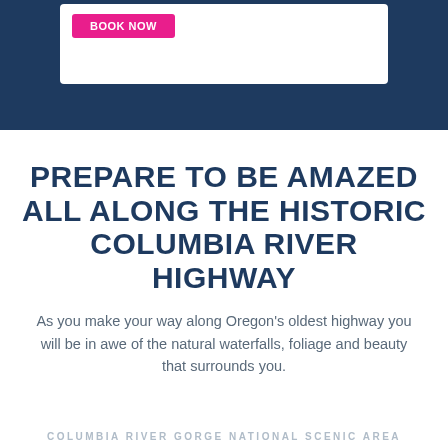[Figure (screenshot): Dark blue banner at top with a white card containing a pink/magenta button]
PREPARE TO BE AMAZED ALL ALONG THE HISTORIC COLUMBIA RIVER HIGHWAY
As you make your way along Oregon's oldest highway you will be in awe of the natural waterfalls, foliage and beauty that surrounds you.
COLUMBIA RIVER GORGE NATIONAL SCENIC AREA